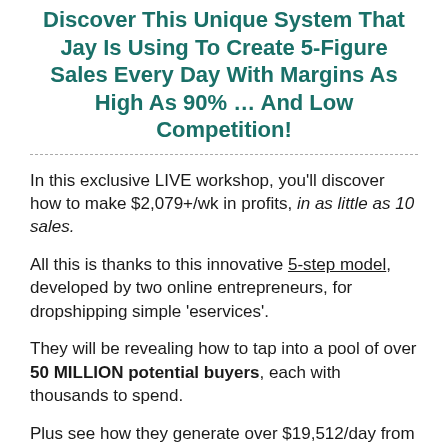Discover This Unique System That Jay Is Using To Create 5-Figure Sales Every Day With Margins As High As 90% … And Low Competition!
In this exclusive LIVE workshop, you'll discover how to make $2,079+/wk in profits, in as little as 10 sales.
All this is thanks to this innovative 5-step model, developed by two online entrepreneurs, for dropshipping simple 'eservices'.
They will be revealing how to tap into a pool of over 50 MILLION potential buyers, each with thousands to spend.
Plus see how they generate over $19,512/day from their own eStore that